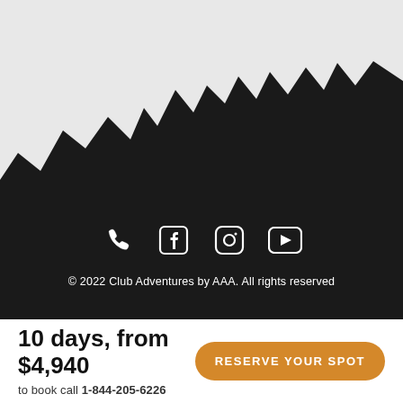[Figure (illustration): Dark mountain silhouette against a light grey sky background, filling the upper portion of the page]
[Figure (infographic): Row of white social media icons on dark background: phone/call icon, Facebook icon, Instagram icon, YouTube icon]
© 2022 Club Adventures by AAA. All rights reserved
10 days, from
$4,940
to book call 1-844-205-6226
Reserve your spot